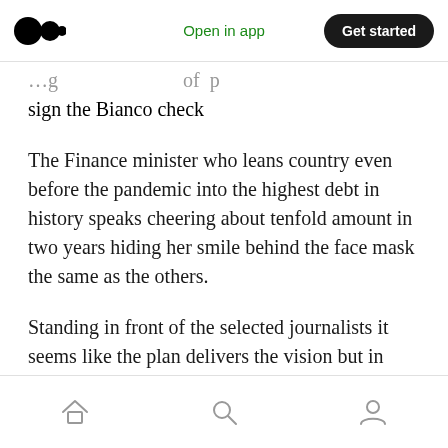Open in app | Get started
sign the Bianco check
The Finance minister who leans country even before the pandemic into the highest debt in history speaks cheering about tenfold amount in two years hiding her smile behind the face mask the same as the others.
Standing in front of the selected journalists it seems like the plan delivers the vision but in fact, listed shops opening and prolong the state of national emergency for an unlimited time.
Home | Search | Profile